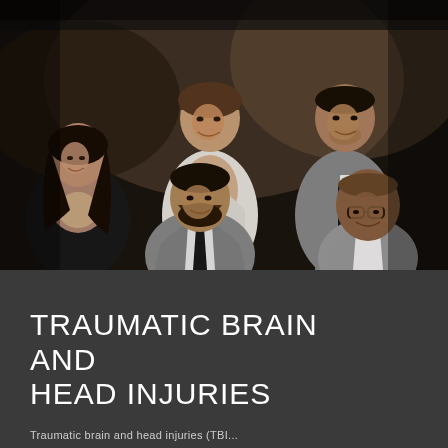[Figure (photo): Professional group photo of five people (law firm team) posed against a dark dramatic background. Two women and three men dressed in formal business attire — suits, blazers. Arranged in two rows: back row has a woman with long dark hair on the left, a taller woman smiling in center-back, and a man in a gray suit on the right; front row has a bearded man in a gray suit with black tie on the left, and a bald man with glasses on the right.]
TRAUMATIC BRAIN AND HEAD INJURIES
Traumatic brain and head injuries (TBI...